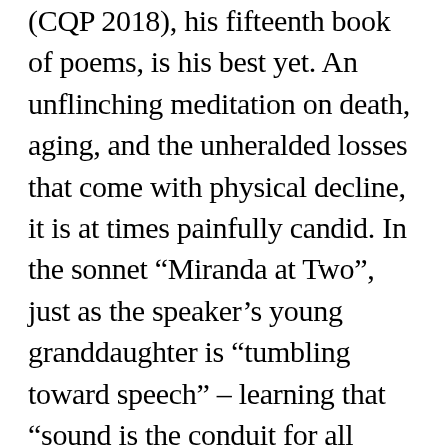(CQP 2018), his fifteenth book of poems, is his best yet. An unflinching meditation on death, aging, and the unheralded losses that come with physical decline, it is at times painfully candid. In the sonnet “Miranda at Two”, just as the speaker’s young granddaughter is “tumbling toward speech” – learning that “sound is the conduit for all those urgent things inside” – the speaker finds  that his own capacity for language, or more accurately his